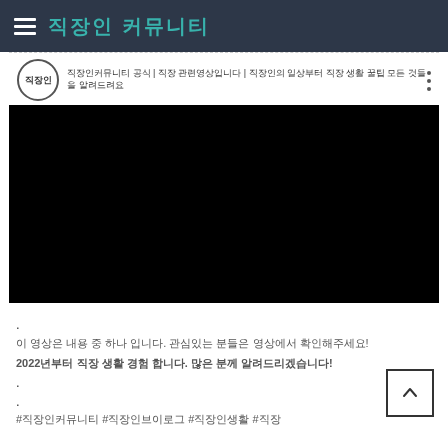직장인 커뮤니티
[Figure (screenshot): Embedded video player with black screen, showing a user avatar with Korean text '직장인' and a description line with Korean text and three-dot menu icon]
.
이 영상은 내용 중 하나 입니다. 관심있는 분들은 영상에서 확인해주세요!
2022년부터 직장 생활 경험 합니다. 많은 분께 알려드리겠습니다!
.
.
#직장인커뮤니티 #직장인브이로그 #직장인생활 #직장